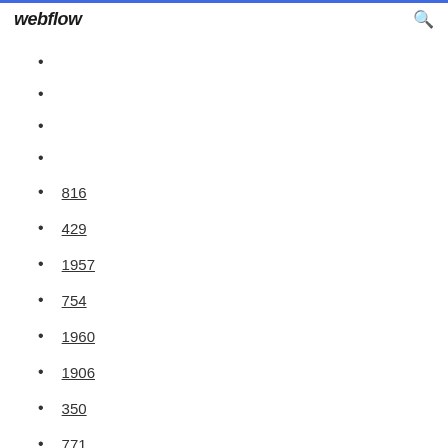webflow
816
429
1957
754
1960
1906
350
771